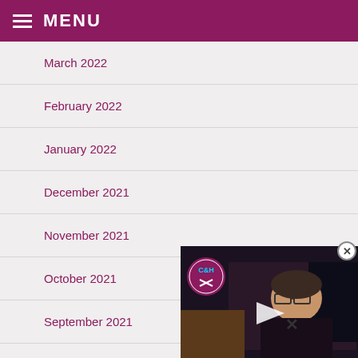MENU
March 2022
February 2022
January 2022
December 2021
November 2021
October 2021
September 2021
August 2021
[Figure (screenshot): Video thumbnail showing a man with glasses, C&H West Ham logo badge, and text 'IRONS v BRIGHTON' at the bottom, with a play button overlay]